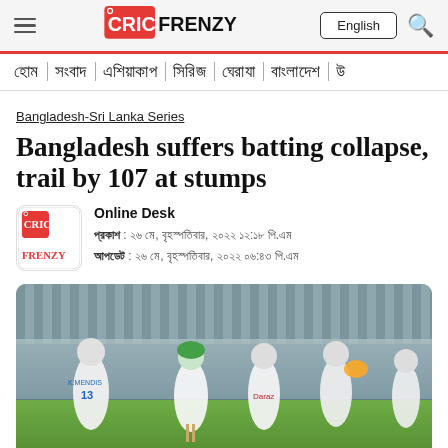CricFrenzy — English
হোম | সংবাদ | এশিয়াকাপ | সিরিজ | ঘেরাযা | বাংলাদেশ | উ
Bangladesh-Sri Lanka Series
Bangladesh suffers batting collapse, trail by 107 at stumps
Online Desk
প্রকাশ : ২৬ মে, বৃহস্পতিবার, ২০২২ ১২:১৮ পি.এম
আপডেট : ২৬ মে, বৃহস্পতিবার, ২০২২ ০৬:৪৩ পি.এম
[Figure (photo): Cricket players on field — Sri Lanka players celebrating while a Bangladesh batsman (in green helmet) walks away, player number 13 (K. Mendis) visible on left]